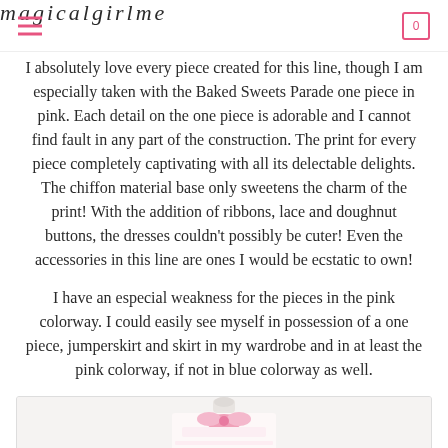magicalgirlme
I absolutely love every piece created for this line, though I am especially taken with the Baked Sweets Parade one piece in pink. Each detail on the one piece is adorable and I cannot find fault in any part of the construction. The print for every piece completely captivating with all its delectable delights. The chiffon material base only sweetens the charm of the print! With the addition of ribbons, lace and doughnut buttons, the dresses couldn't possibly be cuter! Even the accessories in this line are ones I would be ecstatic to own!
I have an especial weakness for the pieces in the pink colorway. I could easily see myself in possession of a one piece, jumperskirt and skirt in my wardrobe and in at least the pink colorway, if not in blue colorway as well.
[Figure (photo): Photo of a white and pink lolita-style dress on a mannequin, featuring a bow and decorative print details]